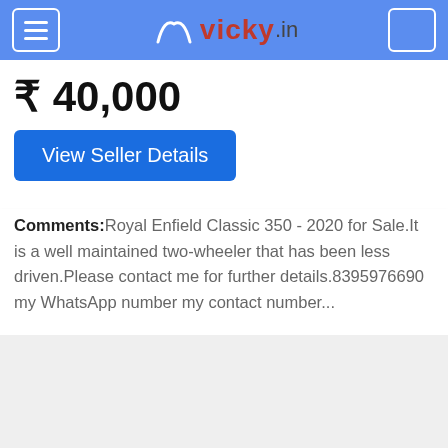vicky.in
₹ 40,000
View Seller Details
Comments: Royal Enfield Classic 350 - 2020 for Sale.It is a well maintained two-wheeler that has been less driven.Please contact me for further details.8395976690 my WhatsApp number my contact number...
[Figure (screenshot): Bottom section of a mobile app page showing a partially visible pink/red button at the bottom]